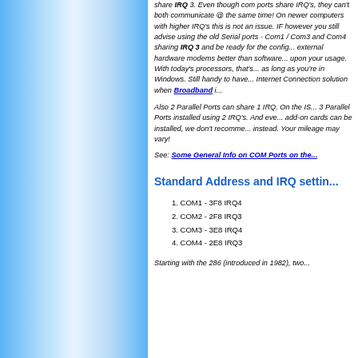share IRQ 3. Even though com ports share IRQ's, they can't both communicate @ the same time! On newer computers with higher IRQ's this is not an issue. IF however you still advise using the old Serial ports - Com1 / Com3 and Com4 sharing IRQ 3 and be ready for the config issues. Use external hardware modems better than software depending upon your usage. With today's processors, that's not an issue as long as you're in Windows. Still handy to have as a backup Internet Connection solution when Broadband i
Also 2 Parallel Ports can share 1 IRQ. On the IS... 3 Parallel Ports installed using 2 IRQ's. And eve... add-on cards can be installed, we don't recomm... instead. Your mileage may vary!
See: Some General Info on COM Ports on the...
Standard Address and IRQ settin...
1. COM1 - 3F8 IRQ4
2. COM2 - 2F8 IRQ3
3. COM3 - 3E8 IRQ4
4. COM4 - 2E8 IRQ3
Starting with the 286 (introduced in 1982), two...